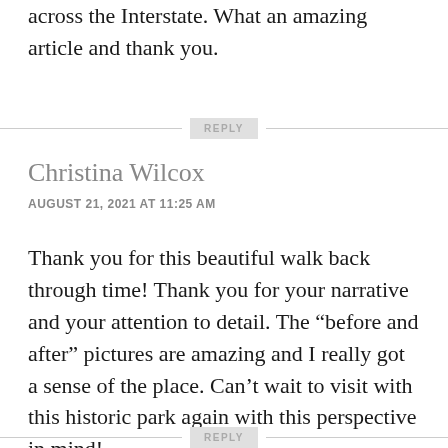across the Interstate. What an amazing article and thank you.
REPLY
Christina Wilcox
AUGUST 21, 2021 AT 11:25 AM
Thank you for this beautiful walk back through time! Thank you for your narrative and your attention to detail. The “before and after” pictures are amazing and I really got a sense of the place. Can’t wait to visit with this historic park again with this perspective in mind!
REPLY